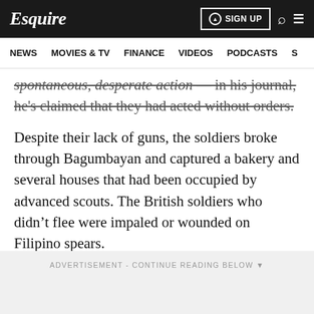Esquire | NEWS | MOVIES & TV | FINANCE | VIDEOS | PODCASTS
spontaneous, desperate action — in his journal, he's claimed that they had acted without orders.
Despite their lack of guns, the soldiers broke through Bagumbayan and captured a bakery and several houses that had been occupied by advanced scouts. The British soldiers who didn't flee were impaled or wounded on Filipino spears.
ADVERTISEMENT - CONTINUE READING BELOW